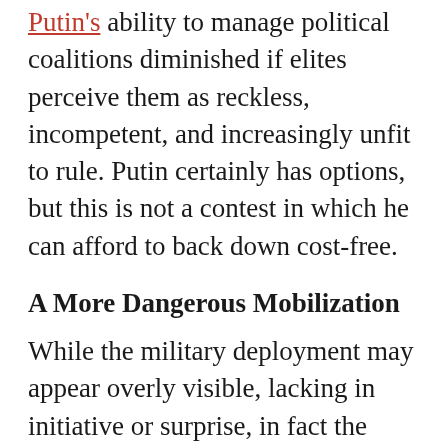Putin's ability to manage political coalitions diminished if elites perceive them as reckless, incompetent, and increasingly unfit to rule. Putin certainly has options, but this is not a contest in which he can afford to back down cost-free.
A More Dangerous Mobilization
While the military deployment may appear overly visible, lacking in initiative or surprise, in fact the opposite is true. Russia is indeed assembling this force in a manner designed to conceal its operational aims. To some extent it retains surprise and initiative. The Russian